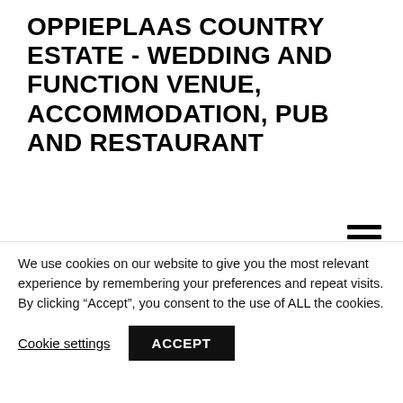OPPIEPLAAS COUNTRY ESTATE - WEDDING AND FUNCTION VENUE, ACCOMMODATION, PUB AND RESTAURANT
[Figure (screenshot): Hamburger menu icon (three horizontal lines) in top-right area]
[Figure (screenshot): Teal-bordered search bar with black rounded pill/button inside]
[Figure (screenshot): Green (teal) 'Bravo!' button with partially visible teal-bordered element below]
We use cookies on our website to give you the most relevant experience by remembering your preferences and repeat visits. By clicking "Accept", you consent to the use of ALL the cookies.
Cookie settings
ACCEPT